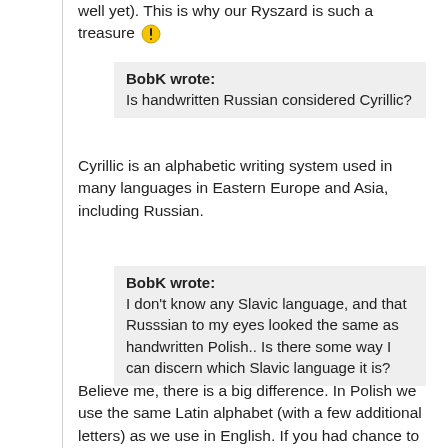well yet). This is why our Ryszard is such a treasure ⚠
BobK wrote: Is handwritten Russian considered Cyrillic?
Cyrillic is an alphabetic writing system used in many languages in Eastern Europe and Asia, including Russian.
BobK wrote: I don't know any Slavic language, and that Russsian to my eyes looked the same as handwritten Polish.. Is there some way I can discern which Slavic language it is?
Believe me, there is a big difference. In Polish we use the same Latin alphabet (with a few additional letters) as we use in English. If you had chance to read handwritten Polish records, I am sure you would be able to read some words, especially surnames and places.